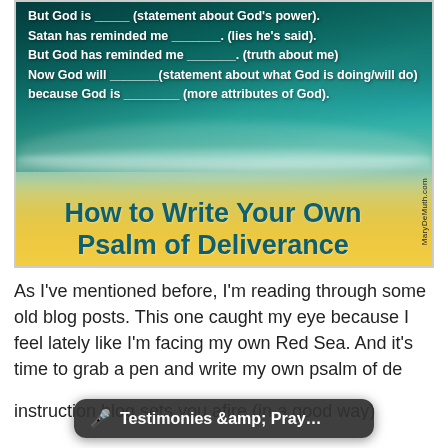[Figure (photo): Ocean/beach scene with teal-green waves and sandy shore. Overlaid bold white text on the upper portion listing fill-in-the-blank statements about God. Lower portion shows title text 'How to Write Your Own Psalm of Deliverance' in dark teal over sandy beach backdrop. Watermark 'MaryDeMuth.com' on right side.]
As I've mentioned before, I'm reading through some old blog posts. This one caught my eye because I feel lately like I'm facing my own Red Sea. And it's time to grab a pen and write my own psalm of de[livrance (truncated)...instruction blog sets you afire (in a good way)
Testimonies &amp; Pray...